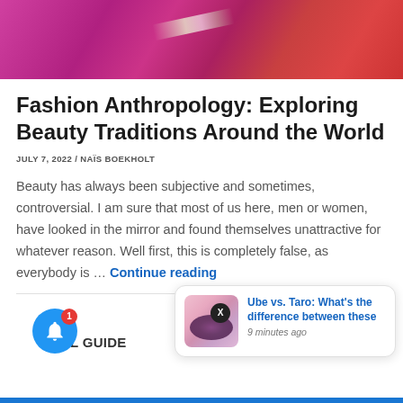[Figure (photo): Colorful cultural photo showing people in bright pink/red traditional clothing, with a metallic plate or utensil visible]
Fashion Anthropology: Exploring Beauty Traditions Around the World
JULY 7, 2022 / NAÏS BOEKHOLT
Beauty has always been subjective and sometimes, controversial. I am sure that most of us here, men or women, have looked in the mirror and found themselves unattractive for whatever reason. Well first, this is completely false, as everybody is … Continue reading
[Figure (photo): Small thumbnail image of purple/pink food items (ube or taro powder in a bowl with macarons)]
Ube vs. Taro: What's the difference between these
9 minutes ago
L GUIDE